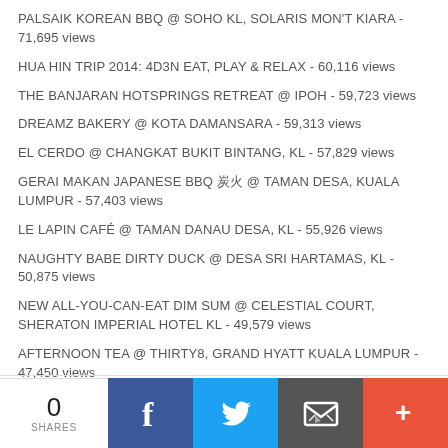PALSAIK KOREAN BBQ @ SOHO KL, SOLARIS MON'T KIARA - 71,695 views
HUA HIN TRIP 2014: 4D3N EAT, PLAY & RELAX - 60,116 views
THE BANJARAN HOTSPRINGS RETREAT @ IPOH - 59,723 views
DREAMZ BAKERY @ KOTA DAMANSARA - 59,313 views
EL CERDO @ CHANGKAT BUKIT BINTANG, KL - 57,829 views
GERAI MAKAN JAPANESE BBQ 炭火 @ TAMAN DESA, KUALA LUMPUR - 57,403 views
LE LAPIN CAFÉ @ TAMAN DANAU DESA, KL - 55,926 views
NAUGHTY BABE DIRTY DUCK @ DESA SRI HARTAMAS, KL - 50,875 views
NEW ALL-YOU-CAN-EAT DIM SUM @ CELESTIAL COURT, SHERATON IMPERIAL HOTEL KL - 49,579 views
AFTERNOON TEA @ THIRTY8, GRAND HYATT KUALA LUMPUR - 47,450 views
THE TOKYO RESTAURANT @ 4F THE TABLE, ISETAN THE JAPAN STORE KL - 44,491 views
0 SHARES | Facebook | Twitter | Email | More